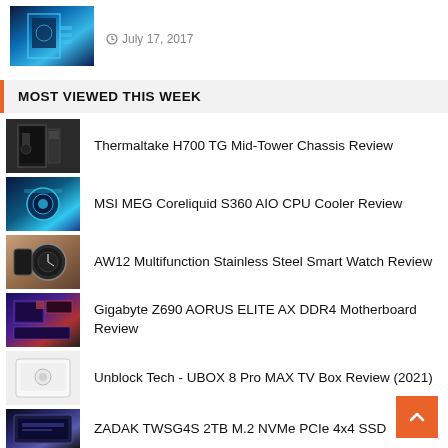[Figure (photo): Thumbnail image of a blue-lit PC case with glowing components]
July 17, 2017
MOST VIEWED THIS WEEK
Thermaltake H700 TG Mid-Tower Chassis Review
MSI MEG Coreliquid S360 AIO CPU Cooler Review
AW12 Multifunction Stainless Steel Smart Watch Review
Gigabyte Z690 AORUS ELITE AX DDR4 Motherboard Review
Unblock Tech - UBOX 8 Pro MAX TV Box Review (2021)
ZADAK TWSG4S 2TB M.2 NVMe PCIe 4x4 SSD Review